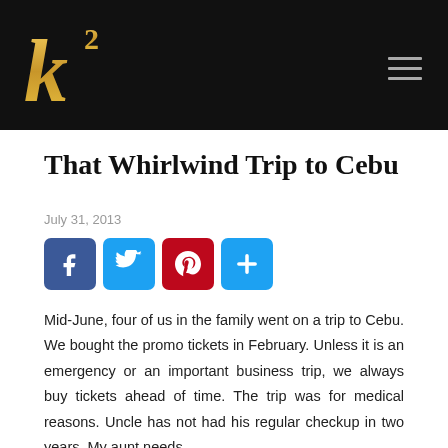k² [logo with hamburger menu]
That Whirlwind Trip to Cebu
July 31, 2013
[Figure (infographic): Social sharing buttons: Facebook, Twitter, Pinterest, Share (plus icon)]
Mid-June, four of us in the family went on a trip to Cebu. We bought the promo tickets in February. Unless it is an emergency or an important business trip, we always buy tickets ahead of time. The trip was for medical reasons. Uncle has not had his regular checkup in two years. My aunt needs